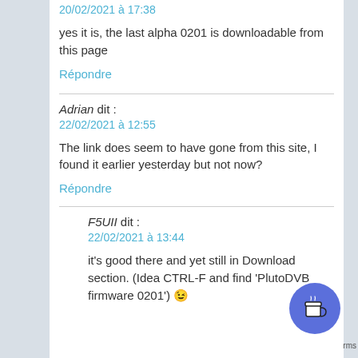20/02/2021 à 17:38
yes it is, the last alpha 0201 is downloadable from this page
Répondre
Adrian dit : 22/02/2021 à 12:55
The link does seem to have gone from this site, I found it earlier yesterday but not now?
Répondre
F5UII dit : 22/02/2021 à 13:44
it's good there and yet still in Download section. (Idea CTRL-F and find 'PlutoDVB firmware 0201') 😉